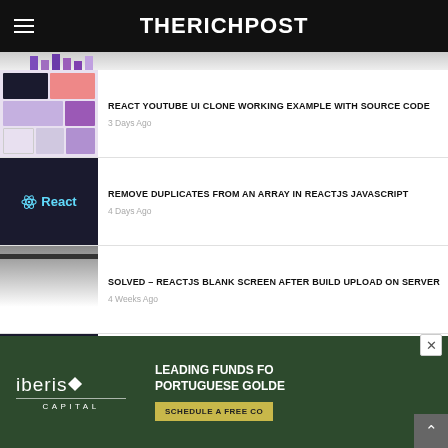THERICHPOST
[Figure (screenshot): Partial dashboard UI screenshot strip at top]
REACT YOUTUBE UI CLONE WORKING EXAMPLE WITH SOURCE CODE
3 Days Ago
REMOVE DUPLICATES FROM AN ARRAY IN REACTJS JAVASCRIPT
4 Days Ago
SOLVED – REACTJS BLANK SCREEN AFTER BUILD UPLOAD ON SERVER
4 Weeks Ago
REACTJS 18 REACT ROUTER DOM WORKING EXAMPLE
[Figure (advertisement): Iberis Capital ad banner: LEADING FUNDS FOR PORTUGUESE GOLDEN VISA, SCHEDULE A FREE CONSULTATION]